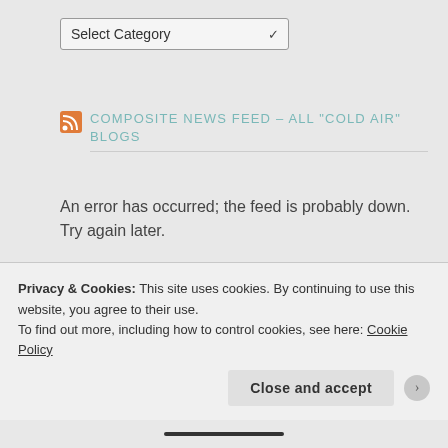[Figure (screenshot): Select Category dropdown widget]
COMPOSITE NEWS FEED – ALL "COLD AIR" BLOGS
An error has occurred; the feed is probably down. Try again later.
POSTS I LIKE
Tracking the Evolution of Gree... on Parker
Privacy & Cookies: This site uses cookies. By continuing to use this website, you agree to their use.
To find out more, including how to control cookies, see here: Cookie Policy
Close and accept